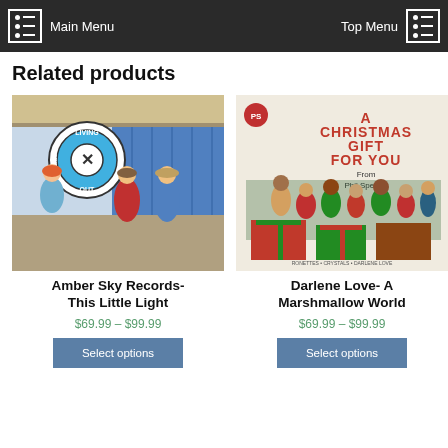Main Menu | Top Menu
Related products
[Figure (illustration): Album cover for Amber Sky Records - This Little Light, showing animated cartoon students in a school hallway with lockers, with a circular 'Living Inside Out' logo badge.]
Amber Sky Records- This Little Light
$69.99 – $99.99
Select options
[Figure (photo): Album cover for 'A Christmas Gift For You From Phil Spector' showing a group of people in holiday attire posing with wrapped presents.]
Darlene Love- A Marshmallow World
$69.99 – $99.99
Select options